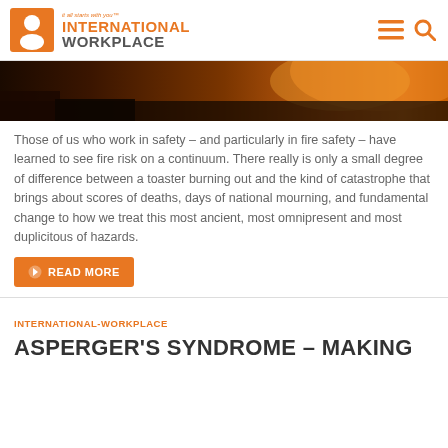International Workplace – it all starts with you
[Figure (photo): Dark orange/amber toned hero image strip showing a fire or sunset scene]
Those of us who work in safety – and particularly in fire safety – have learned to see fire risk on a continuum. There really is only a small degree of difference between a toaster burning out and the kind of catastrophe that brings about scores of deaths, days of national mourning, and fundamental change to how we treat this most ancient, most omnipresent and most duplicitous of hazards.
READ MORE
INTERNATIONAL-WORKPLACE
ASPERGER'S SYNDROME – MAKING